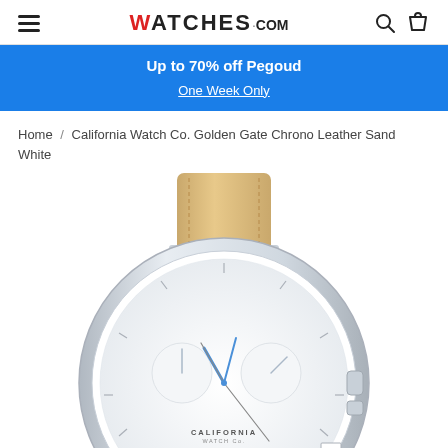WATCHES.COM
Up to 70% off Pegoud
One Week Only
Home / California Watch Co. Golden Gate Chrono Leather Sand White
[Figure (photo): California Watch Co. Golden Gate Chrono Leather Sand White watch with tan/sand leather strap, silver case, white dial, blue hands, chronograph subdials, date window at 3 o'clock, partially cropped showing upper portion of watch face]